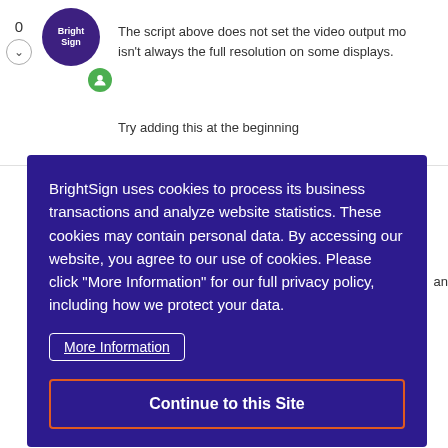The script above does not set the video output mo... isn't always the full resolution on some displays.
Try adding this at the beginning
BrightSign uses cookies to process its business transactions and analyze website statistics. These cookies may contain personal data. By accessing our website, you agree to our use of cookies. Please click "More Information" for our full privacy policy, including how we protect your data.
More Information
Continue to this Site